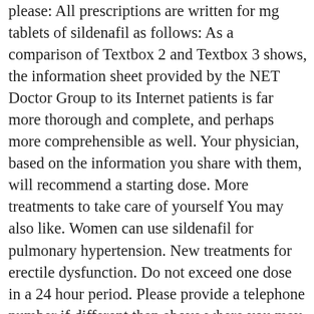please: All prescriptions are written for mg tablets of sildenafil as follows: As a comparison of Textbox 2 and Textbox 3 shows, the information sheet provided by the NET Doctor Group to its Internet patients is far more thorough and complete, and perhaps more comprehensible as well. Your physician, based on the information you share with them, will recommend a starting dose. More treatments to take care of yourself You may also like. Women can use sildenafil for pulmonary hypertension. New treatments for erectile dysfunction. Do not exceed one dose in a 24 hour period. Please provide a telephone number if different than above where you may be reached and a convenient time in the 24 hours following the submission of your form. To be completed by All patients. Limit alcohol intake, as it may aggravate side effects or this drug. You can also get sildenafil on a private prescription